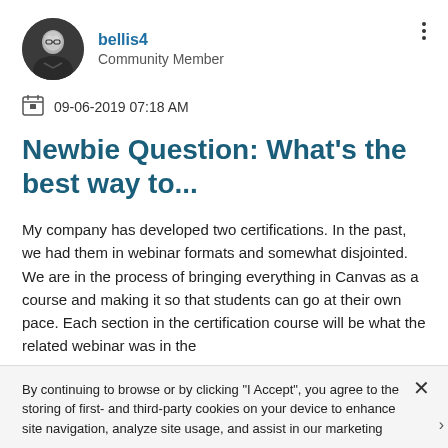[Figure (photo): Circular avatar photo of user bellis4, a person in dark clothing, black and white photo]
bellis4
Community Member
09-06-2019 07:18 AM
Newbie Question: What's the best way to...
My company has developed two certifications. In the past, we had them in webinar formats and somewhat disjointed. We are in the process of bringing everything in Canvas as a course and making it so that students can go at their own pace. Each section in the certification course will be what the related webinar was in the
By continuing to browse or by clicking "I Accept", you agree to the storing of first- and third-party cookies on your device to enhance site navigation, analyze site usage, and assist in our marketing